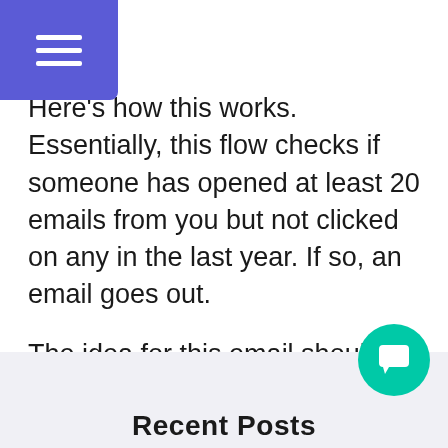[Figure (other): Purple hamburger menu icon button in top-left corner]
Here's how this works. Essentially, this flow checks if someone has opened at least 20 emails from you but not clicked on any in the last year. If so, an email goes out.
The idea for this email should be something that talks about how you're happy for them to be a subscriber, and since they've been such a great subscriber, they need to click for their special offer, and then send them to a page with a custom discount code. Essentially, the email should be a thank you and an offer.
Recent Posts